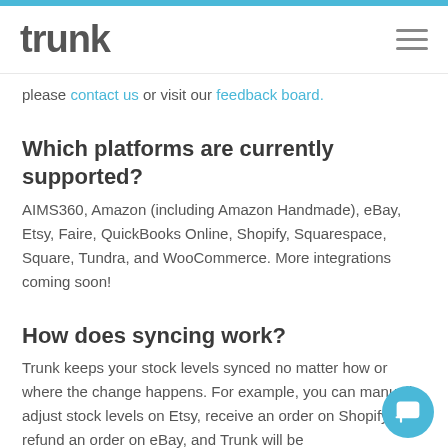trunk
please contact us or visit our feedback board.
Which platforms are currently supported?
AIMS360, Amazon (including Amazon Handmade), eBay, Etsy, Faire, QuickBooks Online, Shopify, Squarespace, Square, Tundra, and WooCommerce. More integrations coming soon!
How does syncing work?
Trunk keeps your stock levels synced no matter how or where the change happens. For example, you can manually adjust stock levels on Etsy, receive an order on Shopify, refund an order on eBay, and Trunk will be